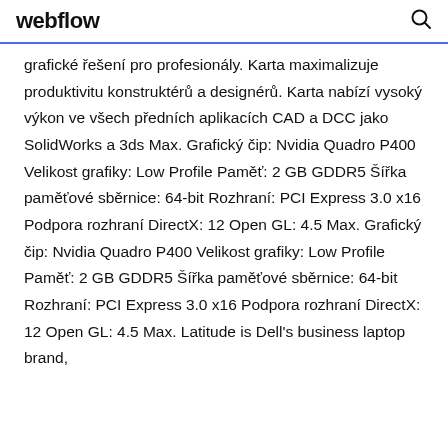webflow
grafické řešení pro profesionály. Karta maximalizuje produktivitu konstruktérů a designérů. Karta nabízí vysoký výkon ve všech předních aplikacích CAD a DCC jako SolidWorks a 3ds Max. Grafický čip: Nvidia Quadro P400 Velikost grafiky: Low Profile Paměť: 2 GB GDDR5 Šířka paměťové sběrnice: 64-bit Rozhraní: PCI Express 3.0 x16 Podpora rozhraní DirectX: 12 Open GL: 4.5 Max. Grafický čip: Nvidia Quadro P400 Velikost grafiky: Low Profile Paměť: 2 GB GDDR5 Šířka paměťové sběrnice: 64-bit Rozhraní: PCI Express 3.0 x16 Podpora rozhraní DirectX: 12 Open GL: 4.5 Max. Latitude is Dell's business laptop brand, designed and manufactured primarily. Ord